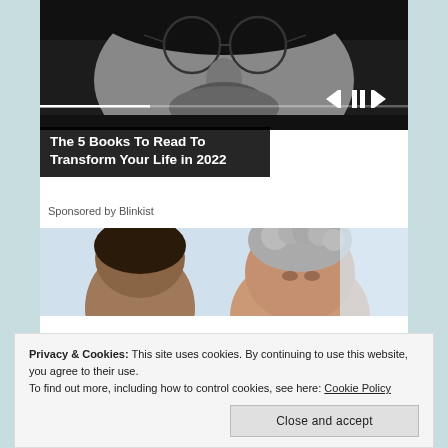[Figure (photo): Black and white photo of a man with round glasses and a beard/mustache, cropped to show face from nose up. Music player controls overlay at bottom with progress bar and skip/pause buttons.]
The 5 Books To Read To Transform Your Life in 2022
Sponsored by Blinkist
[Figure (photo): Photo of an elderly woman with curly gray hair facing a younger person (back of head visible), in a bright setting.]
Privacy & Cookies: This site uses cookies. By continuing to use this website, you agree to their use.
To find out more, including how to control cookies, see here: Cookie Policy
Close and accept